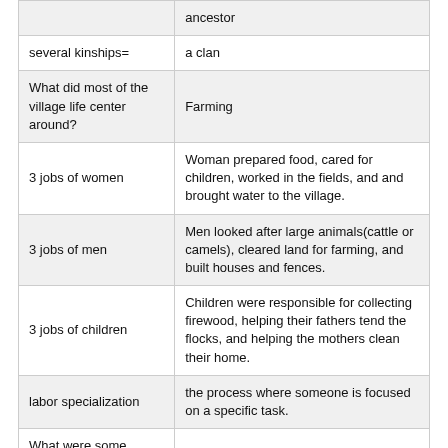|  | ancestor |
| several kinships= | a clan |
| What did most of the village life center around? | Farming |
| 3 jobs of women | Woman prepared food, cared for children, worked in the fields, and and brought water to the village. |
| 3 jobs of men | Men looked after large animals(cattle or camels), cleared land for farming, and built houses and fences. |
| 3 jobs of children | Children were responsible for collecting firewood, helping their fathers tend the flocks, and helping the mothers clean their home. |
| labor specialization | the process where someone is focused on a specific task. |
| What were some different types of labor specialization? | The herding of animals and metalworking,which required great skill. |
|  | With different types of jobs a |